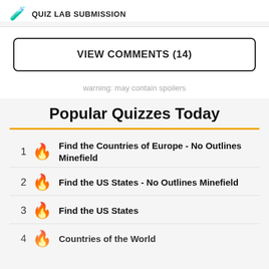QUIZ LAB SUBMISSION
VIEW COMMENTS (14)
warning: may contain spoilers
Popular Quizzes Today
1 Find the Countries of Europe - No Outlines Minefield
2 Find the US States - No Outlines Minefield
3 Find the US States
4 Countries of the World